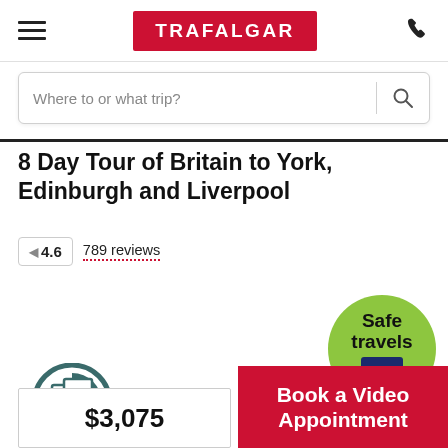TRAFALGAR
Where to or what trip?
8 Day Tour of Britain to York, Edinburgh and Liverpool
4.6   789 reviews
[Figure (logo): Safe travels green circular badge with World Travel & Tourism Council logo]
[Figure (illustration): Circular icon with itinerary/tour page graphic]
Book a Video Appointment
$3,075